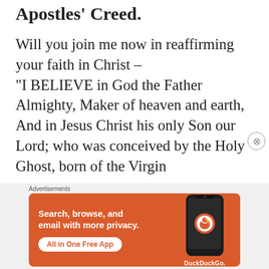Apostles' Creed.
Will you join me now in reaffirming your faith in Christ –
“I BELIEVE in God the Father Almighty, Maker of heaven and earth, And in Jesus Christ his only Son our Lord; who was conceived by the Holy Ghost, born of the Virgin
[Figure (infographic): DuckDuckGo advertisement banner with orange background. Text reads: 'Search, browse, and email with more privacy. All in One Free App' with DuckDuckGo logo and phone illustration.]